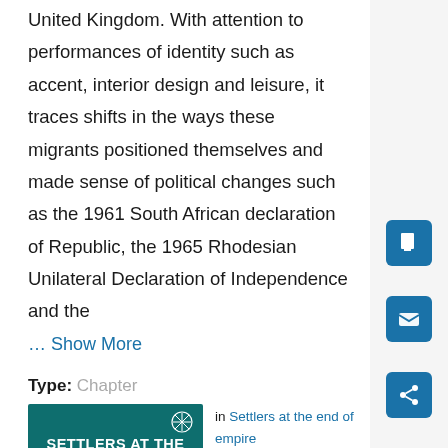United Kingdom. With attention to performances of identity such as accent, interior design and leisure, it traces shifts in the ways these migrants positioned themselves and made sense of political changes such as the 1961 South African declaration of Republic, the 1965 Rhodesian Unilateral Declaration of Independence and the
… Show More
Type: Chapter
[Figure (illustration): Book cover for 'Settlers at the End of Empire: Race and the politics of migration in South Africa, Rhodesia and...' with dark teal background and white text]
in Settlers at the end of empire
Online Publication Date: 12 Jul 2022